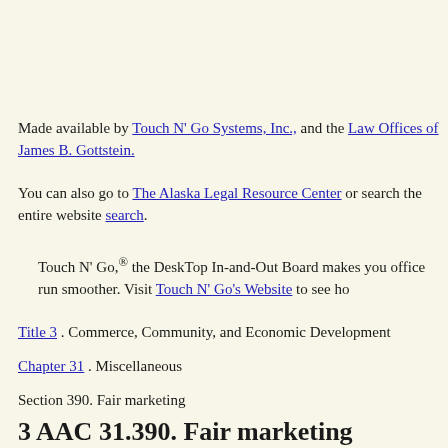Made available by Touch N' Go Systems, Inc., and the Law Offices of James B. Gottstein.
You can also go to The Alaska Legal Resource Center or search the entire website search.
Touch N' Go,® the DeskTop In-and-Out Board makes your office run smoother. Visit Touch N' Go's Website to see how
Title 3 . Commerce, Community, and Economic Development
Chapter 31 . Miscellaneous
Section 390. Fair marketing
3 AAC 31.390. Fair marketing